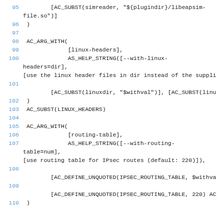95        [AC_SUBST(simreader, "${plugindir}/libeapsim-file.so")]
 96 )
 97
 98 AC_ARG_WITH(
 99             [linux-headers],
100             AS_HELP_STRING([--with-linux-headers=dir],
[use the linux header files in dir instead of the suppli
101
        [AC_SUBST(linuxdir, "$withval")], [AC_SUBST(linu
102 )
103 AC_SUBST(LINUX_HEADERS)
104
105 AC_ARG_WITH(
106             [routing-table],
107             AS_HELP_STRING([--with-routing-table=num],
[use routing table for IPsec routes (default: 220)]),
108
        [AC_DEFINE_UNQUOTED(IPSEC_ROUTING_TABLE, $withva
109
        [AC_DEFINE_UNQUOTED(IPSEC_ROUTING_TABLE, 220) AC
110 )